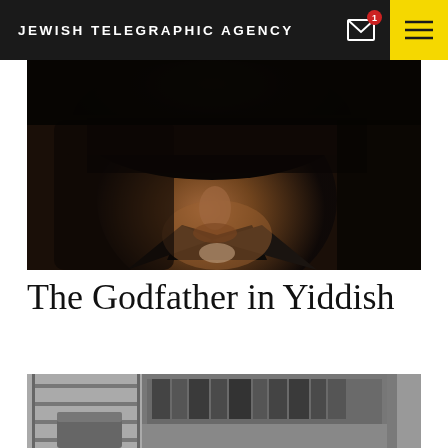JEWISH TELEGRAPHIC AGENCY
[Figure (photo): Close-up dark dramatic photo of an older man's face, partially shadowed, wearing a hat and suit — evocative of The Godfather movie character]
The Godfather in Yiddish
[Figure (photo): Black and white photograph showing a room interior with bookshelves, a suitcase or trunk, and architectural elements including a column or doorway]